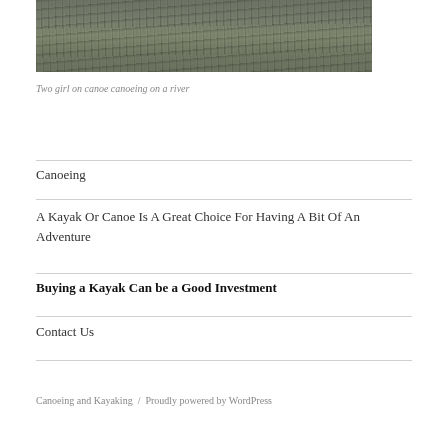[Figure (photo): A river water surface photo, top portion visible, showing gray-green water texture]
Two girl on canoe canoeing on a river
Canoeing
A Kayak Or Canoe Is A Great Choice For Having A Bit Of An Adventure
Buying a Kayak Can be a Good Investment
Contact Us
Canoeing and Kayaking  /  Proudly powered by WordPress